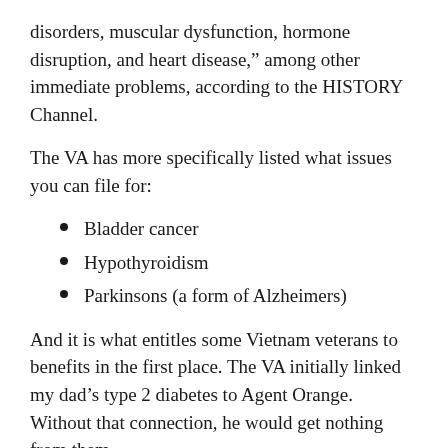disorders, muscular dysfunction, hormone disruption, and heart disease,” among other immediate problems, according to the HISTORY Channel.
The VA has more specifically listed what issues you can file for:
Bladder cancer
Hypothyroidism
Parkinsons (a form of Alzheimers)
And it is what entitles some Vietnam veterans to benefits in the first place. The VA initially linked my dad’s type 2 diabetes to Agent Orange. Without that connection, he would get nothing from them.
There is a gross irony in the way the military will find ways to kill people and then attempt to compensate them once that damage has been exposed (and only when). The U.S. still will not acknowledge the same